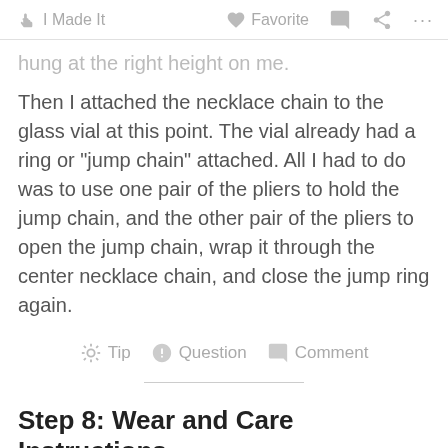I Made It   Favorite   Comment   Share   ...
hung at the right height on me.
Then I attached the necklace chain to the glass vial at this point. The vial already had a ring or "jump chain" attached. All I had to do was to use one pair of the pliers to hold the jump chain, and the other pair of the pliers to open the jump chain, wrap it through the center necklace chain, and close the jump ring again.
Tip   Question   Comment
Step 8: Wear and Care Instructions